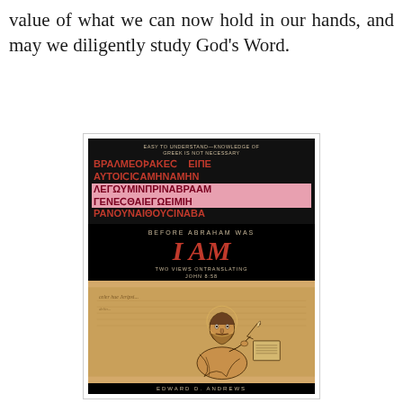value of what we can now hold in our hands, and may we diligently study God's Word.
[Figure (illustration): Book cover for 'Before Abraham Was I AM: Two Views on Translating John 8:58' by Edward D. Andrews. Black cover with Greek manuscript text highlighted in pink at the top, large orange/red italic title 'I AM', subtitle text, and a medieval-style illustration of a scribe writing.]